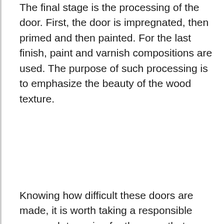The final stage is the processing of the door. First, the door is impregnated, then primed and then painted. For the last finish, paint and varnish compositions are used. The purpose of such processing is to emphasize the beauty of the wood texture.
Knowing how difficult these doors are made, it is worth taking a responsible approach to caring for them, so that you can enjoy and enjoy the excellent appearance of the door for many years.
When cleaning the door, you need to use only special substances. The simplest and most effective solution is to use a solution that consists of 90% water and 10% alcohol. Detergents and abrasive powders are strictly prohibited to be used for cleaning such doors.